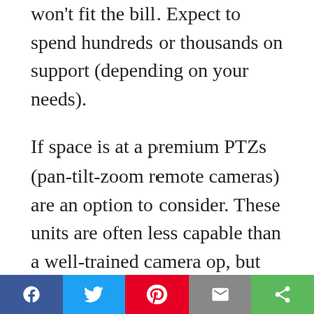won't fit the bill. Expect to spend hundreds or thousands on support (depending on your needs).
If space is at a premium PTZs (pan-tilt-zoom remote cameras) are an option to consider. These units are often less capable than a well-trained camera op, but can go places where you just can't put a person.
Another item to add to your list of equipment is an intercom unit (from manufacturers like Telex or Clearcom). There are other solutions, like smartphone apps or DIY projects, but the director needs to communicate with camera ops during